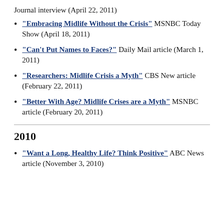Journal interview (April 22, 2011)
"Embracing Midlife Without the Crisis" MSNBC Today Show (April 18, 2011)
"Can't Put Names to Faces?" Daily Mail article (March 1, 2011)
"Researchers: Midlife Crisis a Myth" CBS New article (February 22, 2011)
"Better With Age? Midlife Crises are a Myth" MSNBC article (February 20, 2011)
2010
"Want a Long, Healthy Life? Think Positive" ABC News article (November 3, 2010)